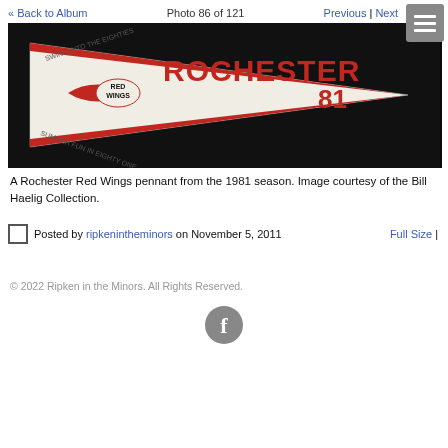« Back to Album   Photo 86 of 121   Previous | Next
[Figure (photo): A Rochester Red Wings baseball pennant from 1981 season with red text 'ROCHESTER 81' and Red Wings logo, on dark background. Text around edges reads 'Swing into the Eighties' and 'Summer Fun in Eighty One'.]
A Rochester Red Wings pennant from the 1981 season. Image courtesy of the Bill Haelig Collection.
Posted by ripkenintheminors on November 5, 2011   Full Size |
© 2022 Ripken in the Minors. All Rights Reserved.